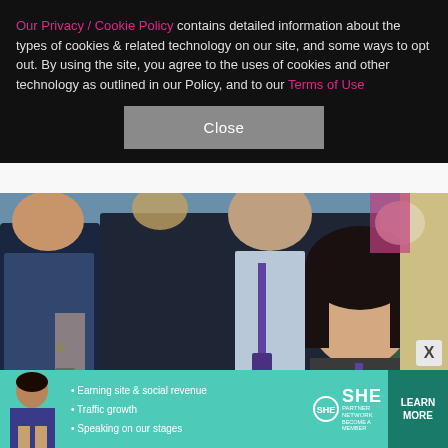Our Privacy / Cookie Policy contains detailed information about the types of cookies & related technology on our site, and some ways to opt out. By using the site, you agree to the uses of cookies and other technology as outlined in our Policy, and to our Terms of Use
[Figure (photo): Crowd of people sitting in stadium seats, wearing lanyards with purple accents. A dark-haired woman in the foreground looks toward the camera with a serious expression.]
WireImage
Experts are predicting that the May 20 wedding will cost around $320,000.
[Figure (infographic): Advertisement banner for SHE PARTNER NETWORK with bullet points: Earning site & social revenue, Traffic growth, Speaking on our stages. Includes LEARN MORE button.]